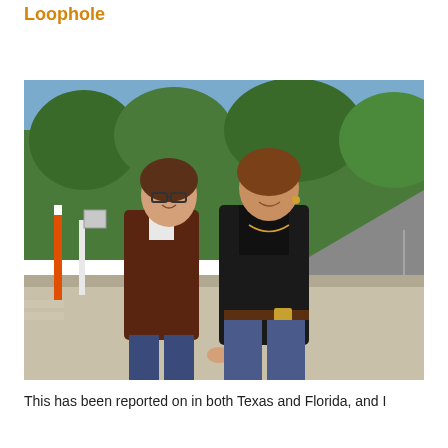Loophole
Leave a reply
[Figure (photo): Two women walking together outdoors on a sidewalk near a road. The woman on the left wears glasses and a dark brown cardigan over a white shirt. The woman on the right wears a black jacket and jeans. Trees and a road are visible in the background.]
This has been reported on in both Texas and Florida, and I